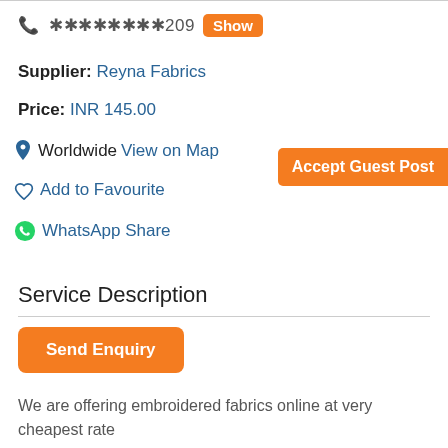********209 Show
Supplier: Reyna Fabrics
Price: INR 145.00
Worldwide View on Map
Add to Favourite
WhatsApp Share
Accept Guest Post
Service Description
Send Enquiry
We are offering embroidered fabrics online at very cheapest rate